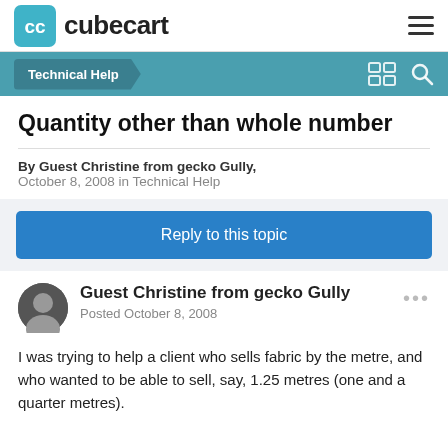cubecart
Technical Help
Quantity other than whole number
By Guest Christine from gecko Gully,
October 8, 2008 in Technical Help
Reply to this topic
Guest Christine from gecko Gully
Posted October 8, 2008
I was trying to help a client who sells fabric by the metre, and who wanted to be able to sell, say, 1.25 metres (one and a quarter metres).